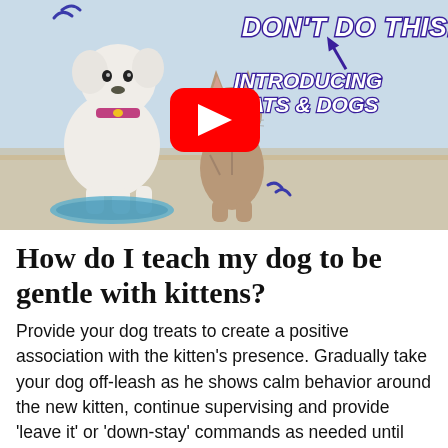[Figure (screenshot): YouTube video thumbnail showing a dog (white poodle) and a cat (tabby) together. Text overlay reads 'DON'T DO THIS!' with an arrow, and 'INTRODUCING CATS & DOGS'. A red YouTube play button is centered on the image.]
How do I teach my dog to be gentle with kittens?
Provide your dog treats to create a positive association with the kitten's presence. Gradually take your dog off-leash as he shows calm behavior around the new kitten, continue supervising and provide 'leave it' or 'down-stay' commands as needed until the